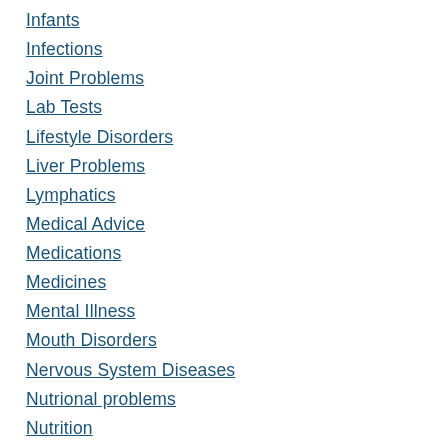Infants
Infections
Joint Problems
Lab Tests
Lifestyle Disorders
Liver Problems
Lymphatics
Medical Advice
Medications
Medicines
Mental Illness
Mouth Disorders
Nervous System Diseases
Nutrional problems
Nutrition
Old Age Diseases